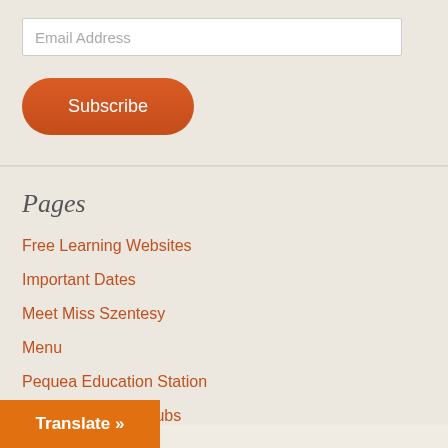Email Address
Subscribe
Pages
Free Learning Websites
Important Dates
Meet Miss Szentesy
Menu
Pequea Education Station
Scholastic Book Clubs
Translate »